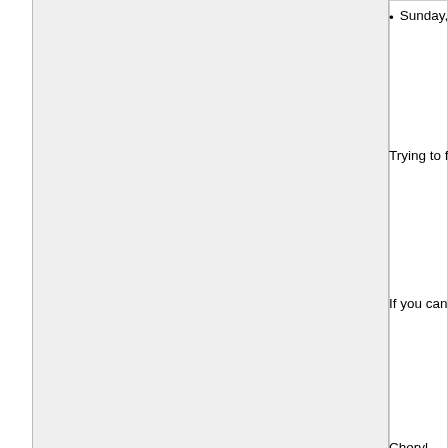Sunday, 1/8
Trying to fill what we have left. We are a mid
If you can host, please reach out. Thank you.
Cheryl-
cherya8@yahoo.com
text 203.942.4132
Central Capitals PWB team
by Kevin Guilmartin on 7/18/2022
The Central Capitals PWB team, third team o